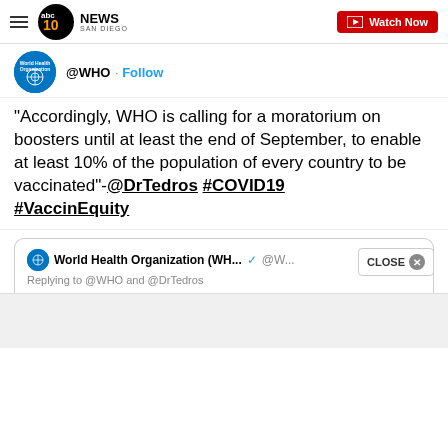10NEWS SAN DIEGO | Watch Now
@WHO · Follow
"Accordingly, WHO is calling for a moratorium on boosters until at least the end of September, to enable at least 10% of the population of every country to be vaccinated"-@DrTedros #COVID19 #VaccinEquity
World Health Organization (WH... @W... Replying to @WHO and @DrTedros "Meanwhile, low-income countries have only been able to administer 1.5 💉 for every 100 people,